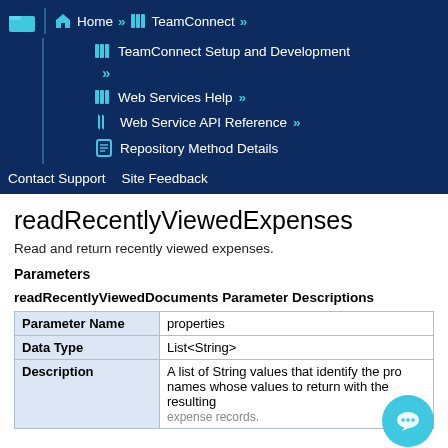Home » TeamConnect » TeamConnect Setup and Development » Web Services Help » Web Service API Reference » Repository Method Details
Contact Support   Site Feedback
readRecentlyViewedExpenses
Read and return recently viewed expenses.
Parameters
readRecentlyViewedDocuments Parameter Descriptions
| Parameter Name | properties |
| --- | --- |
| Data Type | List<String> |
| Description | A list of String values that identify the property names whose values to return with the resulting expense records. |
Response